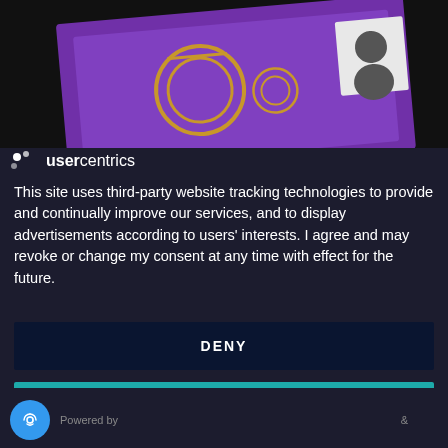[Figure (screenshot): Top portion showing a purple gradient card with gold ring decoration and a black-and-white profile photo thumbnail, on a dark background]
usercentrics
This site uses third-party website tracking technologies to provide and continually improve our services, and to display advertisements according to users' interests. I agree and may revoke or change my consent at any time with effect for the future.
DENY
ACCEPT
MORE
Powered by &